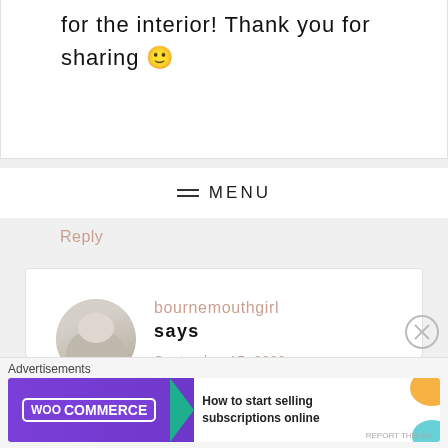for the interior! Thank you for sharing 🙂
≡ MENU
Reply
bournemouthgirl says September 15, 2020 at 10:48 am
Thank you for reading and commenting
[Figure (photo): Circular avatar photo of a smiling young woman with blonde hair]
Advertisements
[Figure (screenshot): WooCommerce advertisement banner: How to start selling subscriptions online]